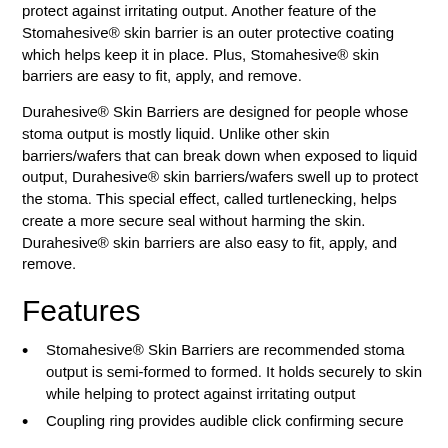protect against irritating output. Another feature of the Stomahesive® skin barrier is an outer protective coating which helps keep it in place. Plus, Stomahesive® skin barriers are easy to fit, apply, and remove.
Durahesive® Skin Barriers are designed for people whose stoma output is mostly liquid. Unlike other skin barriers/wafers that can break down when exposed to liquid output, Durahesive® skin barriers/wafers swell up to protect the stoma. This special effect, called turtlenecking, helps create a more secure seal without harming the skin. Durahesive® skin barriers are also easy to fit, apply, and remove.
Features
Stomahesive® Skin Barriers are recommended stoma output is semi-formed to formed. It holds securely to skin while helping to protect against irritating output
Coupling ring provides audible click confirming secure